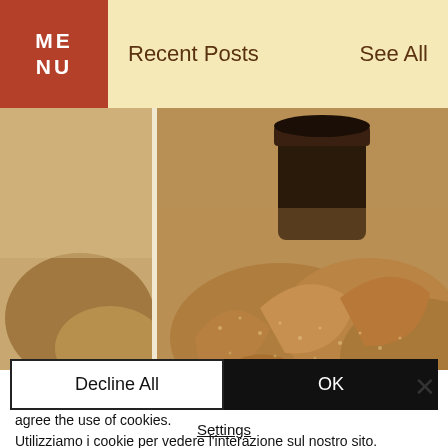MENU  Recent Posts  See All
[Figure (photo): Close-up photo of sugared cookie pretzels/twists with a dark dipping sauce in a cup, arranged on a plate. A second partial image on the right shows green leafy food.]
We use cookies to se interaction with our site. By accepting, you agree the use of cookies.
Utilizziamo i cookie per vedere l'interazione sul nostro sito. Accettando, acconsenti all'uso dei cookie.
Nous utilisons des cookies pour voir l'interaction avec notre site. En acceptant, vous êtes d'accord. Privacy Policy
Decline All
OK
Settings